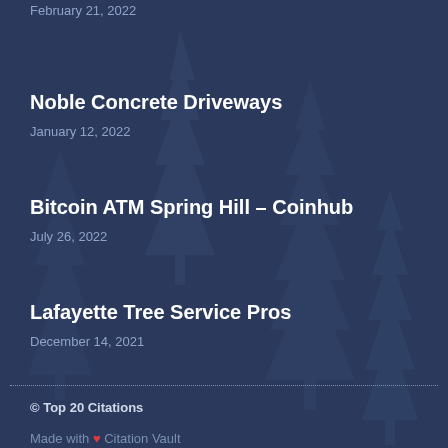Noble Concrete Driveways
January 12, 2022
Bitcoin ATM Spring Hill – Coinhub
July 26, 2022
Lafayette Tree Service Pros
December 14, 2021
© Top 20 Citations
Made with ❤ Citation Vault